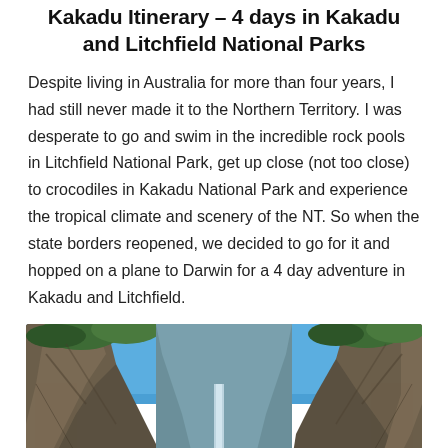Kakadu Itinerary – 4 days in Kakadu and Litchfield National Parks
Despite living in Australia for more than four years, I had still never made it to the Northern Territory. I was desperate to go and swim in the incredible rock pools in Litchfield National Park, get up close (not too close) to crocodiles in Kakadu National Park and experience the tropical climate and scenery of the NT. So when the state borders reopened, we decided to go for it and hopped on a plane to Darwin for a 4 day adventure in Kakadu and Litchfield.
[Figure (photo): Two people standing in a rocky gorge with a waterfall in the background, tall rock walls on either side, blue sky above, green trees visible at the top.]